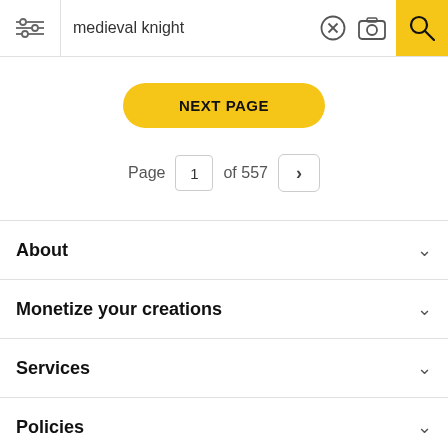medieval knight
NEXT PAGE
Page 1 of 557
About
Monetize your creations
Services
Policies
Support